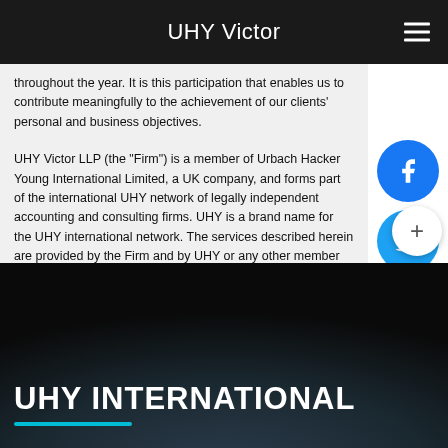UHY Victor
throughout the year. It is this participation that enables us to contribute meaningfully to the achievement of our clients' personal and business objectives.
UHY Victor LLP (the "Firm") is a member of Urbach Hacker Young International Limited, a UK company, and forms part of the international UHY network of legally independent accounting and consulting firms. UHY is a brand name for the UHY international network. The services described herein are provided by the Firm and by UHY or any other member firm of UHY. Neither UHY nor any member of UHY has any liability for services provided by other members.
UHY INTERNATIONAL